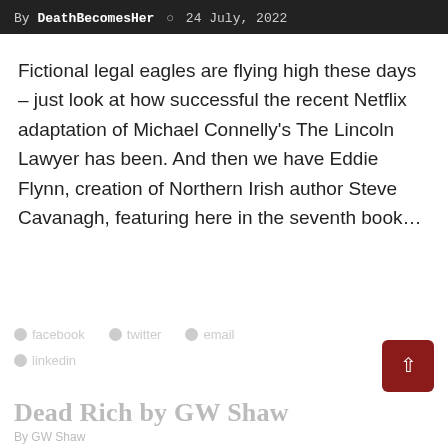By DeathBecomesHer ○ 24 July, 2022
Fictional legal eagles are flying high these days – just look at how successful the recent Netflix adaptation of Michael Connelly's The Lincoln Lawyer has been. And then we have Eddie Flynn, creation of Northern Irish author Steve Cavanagh, featuring here in the seventh book…
Dead Rich by GW Shaw
By GW Shaw